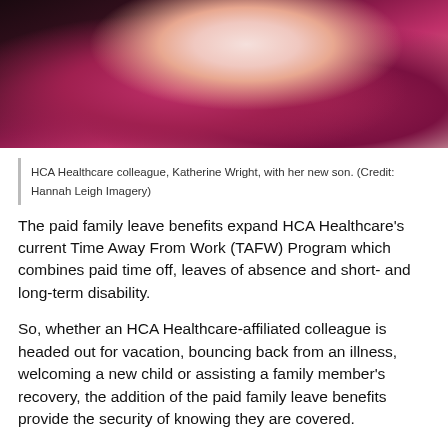[Figure (photo): Close-up photo of a person in a magenta/pink top with arms crossed, likely a woman, dark background]
HCA Healthcare colleague, Katherine Wright, with her new son. (Credit: Hannah Leigh Imagery)
The paid family leave benefits expand HCA Healthcare's current Time Away From Work (TAFW) Program which combines paid time off, leaves of absence and short- and long-term disability.
So, whether an HCA Healthcare-affiliated colleague is headed out for vacation, bouncing back from an illness, welcoming a new child or assisting a family member's recovery, the addition of the paid family leave benefits provide the security of knowing they are covered.